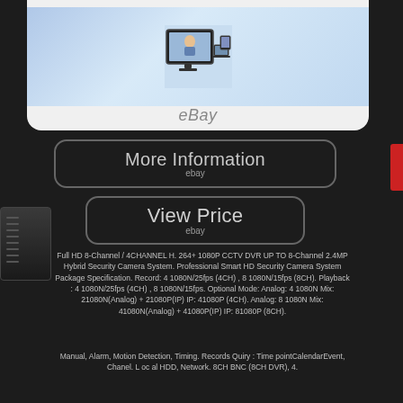[Figure (photo): eBay product listing photo showing multiple screens (monitor, laptop, tablet, phone) displaying a family image, with eBay watermark below]
[Figure (photo): More Information button with ebay label]
[Figure (photo): View Price button with ebay label]
Full HD 8-Channel / 4CHANNEL H. 264+ 1080P CCTV DVR UP TO 8-Channel 2.4MP Hybrid Security Camera System. Professional Smart HD Security Camera System Package Specification. Record: 4 1080N/25fps (4CH) , 8 1080N/15fps (8CH). Playback : 4 1080N/25fps (4CH) , 8 1080N/15fps. Optional Mode: Analog: 4 1080N Mix: 21080N(Analog) + 21080P(IP) IP: 41080P (4CH). Analog: 8 1080N Mix: 41080N(Analog) + 41080P(IP) IP: 81080P (8CH).
Manual, Alarm, Motion Detection, Timing. Records Quiry : Time pointCalendarEvent, Chanel. L oc al HDD, Network. 8CH BNC (8CH DVR), 4.